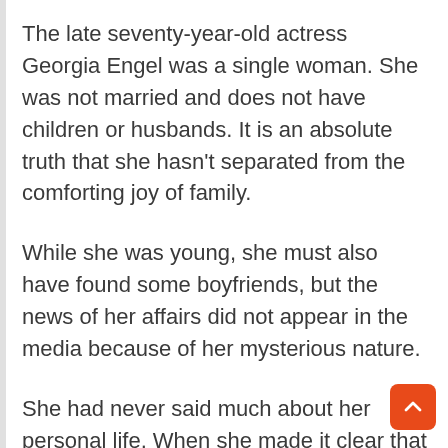The late seventy-year-old actress Georgia Engel was a single woman. She was not married and does not have children or husbands. It is an absolute truth that she hasn't separated from the comforting joy of family.
While she was young, she must also have found some boyfriends, but the news of her affairs did not appear in the media because of her mysterious nature.
She had never said much about her personal life. When she made it clear that love and affair were not her cups. She has not been getting hitched, so people